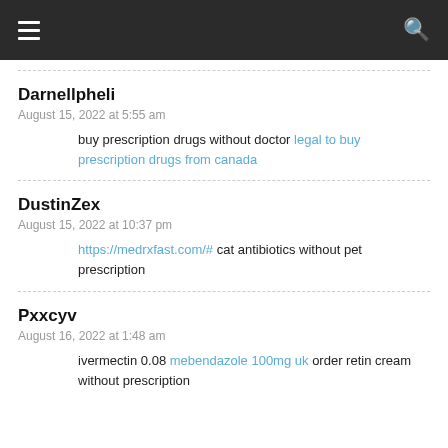Navigation bar with hamburger menu and search icon
Darnellpheli
August 15, 2022 at 5:55 am
buy prescription drugs without doctor legal to buy prescription drugs from canada
DustinZex
August 15, 2022 at 10:37 pm
https://medrxfast.com/# cat antibiotics without pet prescription
Pxxcyv
August 16, 2022 at 1:48 am
ivermectin 0.08 mebendazole 100mg uk order retin cream without prescription